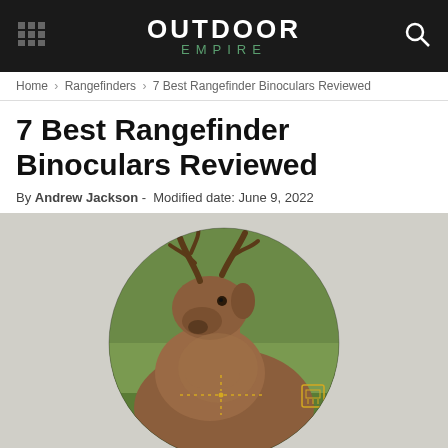OUTDOOR EMPIRE
Home > Rangefinders > 7 Best Rangefinder Binoculars Reviewed
7 Best Rangefinder Binoculars Reviewed
By Andrew Jackson - Modified date: June 9, 2022
[Figure (photo): A elk/deer viewed through a circular rangefinder binocular scope with a dotted crosshair reticle overlay in the lower center and a small rangefinder display icon in the lower right.]